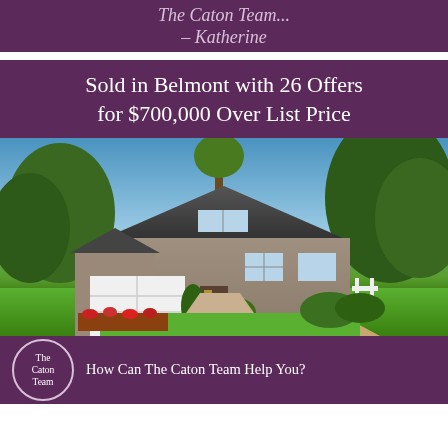The Caton Team... – Katherine
Sold in Belmont with 26 Offers for $700,000 Over List Price
[Figure (photo): Aerial/elevated exterior photo of a grey suburban two-story home with white garage door, green lawn, surrounded by large oak and palm trees, blue sky background]
How Can The Caton Team Help You?